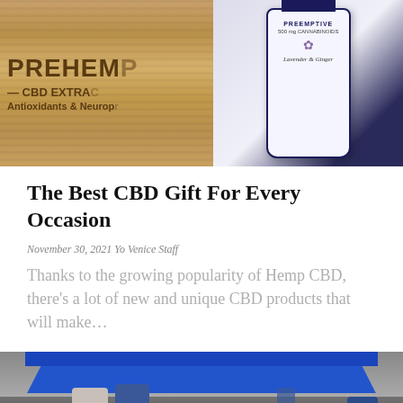[Figure (photo): Photo of Preemptive CBD product — a wooden sign reading 'PREEMPTIVE CBD EXTRA Antioxidants & Neurop...' next to a white bottle labeled 'PREEMPTIVE 500 mg CANNABINOIDS Lavender & Ginger']
The Best CBD Gift For Every Occasion
November 30, 2021 Yo Venice Staff
Thanks to the growing popularity of Hemp CBD, there's a lot of new and unique CBD products that will make...
[Figure (photo): Photo of a COVID-19 testing site under a blue pop-up tent, with healthcare workers wearing masks and blue uniforms, a 'PLEASE STOP HERE' sign visible in foreground]